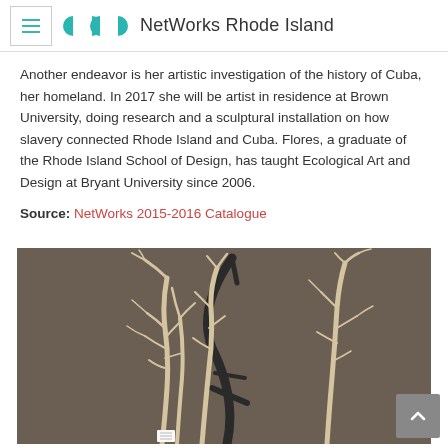NetWorks Rhode Island
Another endeavor is her artistic investigation of the history of Cuba, her homeland. In 2017 she will be artist in residence at Brown University, doing research and a sculptural installation on how slavery connected Rhode Island and Cuba. Flores, a graduate of the Rhode Island School of Design, has taught Ecological Art and Design at Bryant University since 2006.
Source: NetWorks 2015-2016 Catalogue
[Figure (photo): Photograph of sculptural tree branch installation artwork showing three bare white/cream colored branches or root structures standing upright against a dark brownish-grey background, with thin branching forms intertwining]